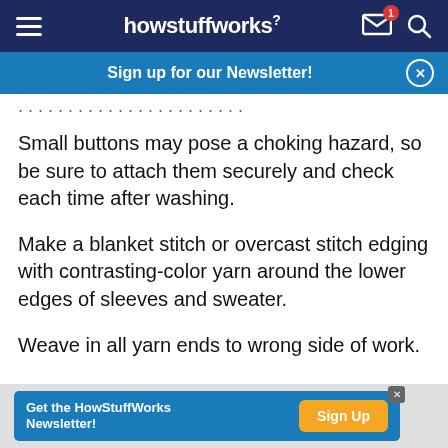howstuffworks
Sign up for our Newsletter!
Small buttons may pose a choking hazard, so be sure to attach them securely and check each time after washing.
Make a blanket stitch or overcast stitch edging with contrasting-color yarn around the lower edges of sleeves and sweater.
Weave in all yarn ends to wrong side of work.
Get the HowStuffWorks Newsletter! Sign Up